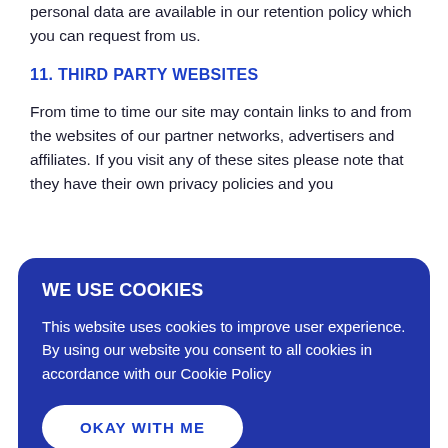personal data are available in our retention policy which you can request from us.
11. THIRD PARTY WEBSITES
From time to time our site may contain links to and from the websites of our partner networks, advertisers and affiliates. If you visit any of these sites please note that they have their own privacy policies and you
WE USE COOKIES
This website uses cookies to improve user experience. By using our website you consent to all cookies in accordance with our Cookie Policy
OKAY WITH ME
to us via our contact us page on our website or by